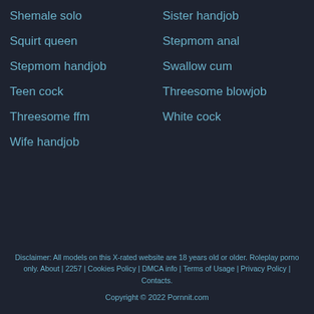Shemale solo
Sister handjob
Squirt queen
Stepmom anal
Stepmom handjob
Swallow cum
Teen cock
Threesome blowjob
Threesome ffm
White cock
Wife handjob
Disclaimer: All models on this X-rated website are 18 years old or older. Roleplay porno only. About | 2257 | Cookies Policy | DMCA info | Terms of Usage | Privacy Policy | Contacts.
Copyright © 2022 Pornnit.com